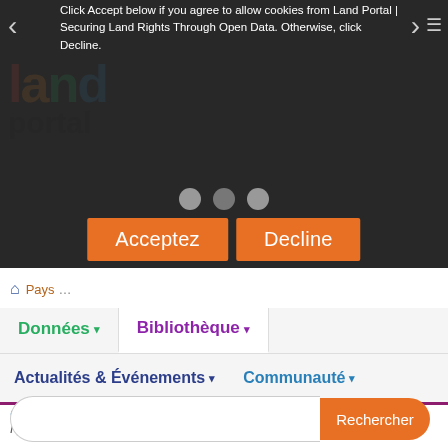[Figure (screenshot): Land Portal website with cookie consent overlay. Dark semi-transparent overlay showing cookie acceptance message. Land Portal logo visible in background. Two orange buttons: Acceptez and Decline. Navigation menu with Données, Bibliothèque, Actualités & Événements, Communauté. Breadcrumb showing Creative Commons Attribution–NonCommercial / David Publishing / Résultats de la recherche. Search bar with Rechercher button.]
Click Accept below if you agree to allow cookies from Land Portal | Securing Land Rights Through Open Data. Otherwise, click Decline.
Acceptez
Decline
Données ▾
Bibliothèque ▾
Actualités & Événements ▾
Communauté ▾
Creative Commons Attribution–NonCommercial / David Publishing / Résultats de la recherche
Rechercher